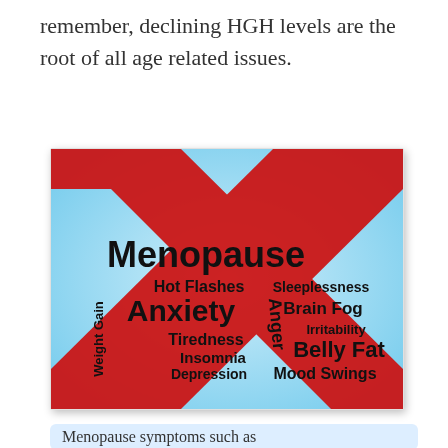remember, declining HGH levels are the root of all age related issues.
[Figure (infographic): Word cloud infographic with a large red X overlaid on a light blue background. Text terms include: Menopause (largest), Anxiety, Hot Flashes, Sleeplessness, Brain Fog, Irritability, Belly Fat, Tiredness, Insomnia, Depression, Mood Swings, Weight Gain, Anger. All terms are in black on the blue background with a large red X crossing over the whole image.]
Menopause symptoms such as